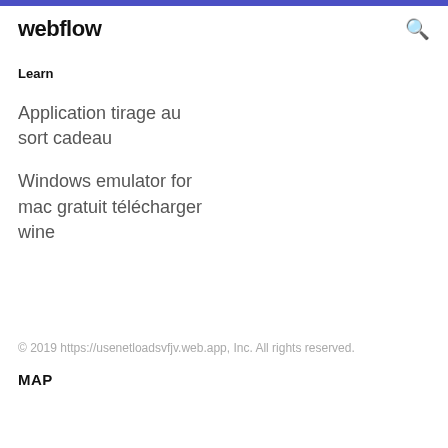webflow
Learn
Application tirage au sort cadeau
Windows emulator for mac gratuit télécharger wine
© 2019 https://usenetloadsvfjv.web.app, Inc. All rights reserved.
MAP